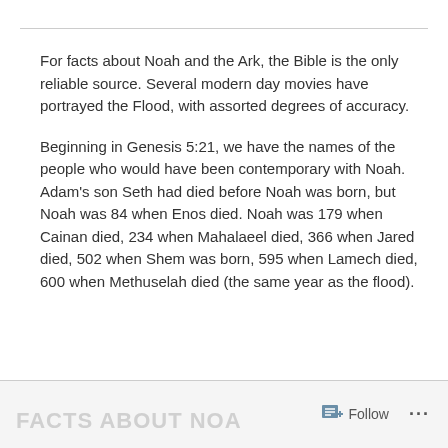For facts about Noah and the Ark, the Bible is the only reliable source. Several modern day movies have portrayed the Flood, with assorted degrees of accuracy.
Beginning in Genesis 5:21, we have the names of the people who would have been contemporary with Noah. Adam's son Seth had died before Noah was born, but Noah was 84 when Enos died. Noah was 179 when Cainan died, 234 when Mahalaeel died, 366 when Jared died, 502 when Shem was born, 595 when Lamech died, 600 when Methuselah died (the same year as the flood).
Follow ···